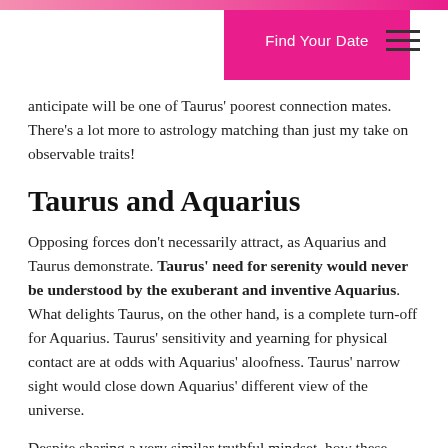Find Your Date
anticipate will be one of Taurus' poorest connection mates. There's a lot more to astrology matching than just my take on observable traits!
Taurus and Aquarius
Opposing forces don't necessarily attract, as Aquarius and Taurus demonstrate. Taurus' need for serenity would never be understood by the exuberant and inventive Aquarius. What delights Taurus, on the other hand, is a complete turn-off for Aquarius. Taurus' sensitivity and yearning for physical contact are at odds with Aquarius' aloofness. Taurus' narrow sight would close down Aquarius' different view of the universe.
Despite sharing a very similar truthful mindset, how these signs go on about it could not have been more dissimilar. Sadly, this leads to a reciprocal lack of comprehension between both the two. This partnership is unlikely to endure if Aquarius manages